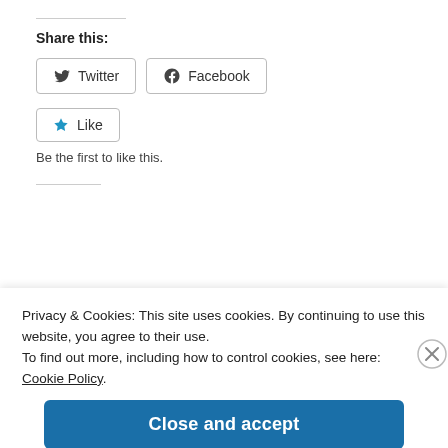Share this:
[Figure (screenshot): Social share buttons: Twitter and Facebook]
[Figure (screenshot): Like button with star icon]
Be the first to like this.
Privacy & Cookies: This site uses cookies. By continuing to use this website, you agree to their use. To find out more, including how to control cookies, see here: Cookie Policy.
Close and accept